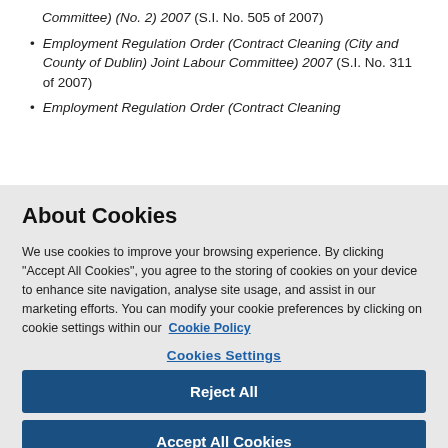Committee) (No. 2) 2007 (S.I. No. 505 of 2007)
Employment Regulation Order (Contract Cleaning (City and County of Dublin) Joint Labour Committee) 2007 (S.I. No. 311 of 2007)
Employment Regulation Order (Contract Cleaning ...
About Cookies
We use cookies to improve your browsing experience. By clicking “Accept All Cookies”, you agree to the storing of cookies on your device to enhance site navigation, analyse site usage, and assist in our marketing efforts. You can modify your cookie preferences by clicking on cookie settings within our Cookie Policy
Cookies Settings
Reject All
Accept All Cookies